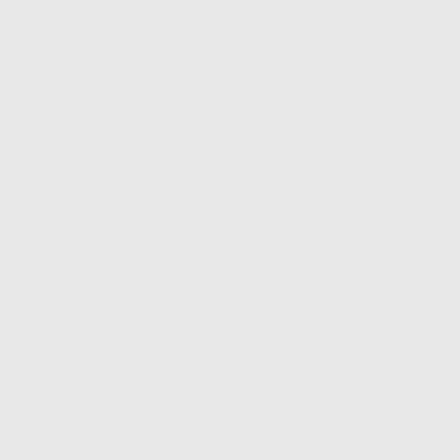Term, and it is undisputed that, d after the time to make such servi necessitated a motion to open de pleading for three days and then Special Term, but without pointi
Upon receipt of the copy servi does not conform to the order, th correct. It appears that, pending r three days, and only after these n Having retained the costs and AR
38 178 38 636 38 178 160a 663
FIR
[Vol. 38. thereafter having reco were not at liberty to return it. U thereafter move to strike out suc Special Term granting leave to se with ten dollars costs and disburs
VAN BRUNT, P. J., PATTERSO
Order affirmed, with ten dolla